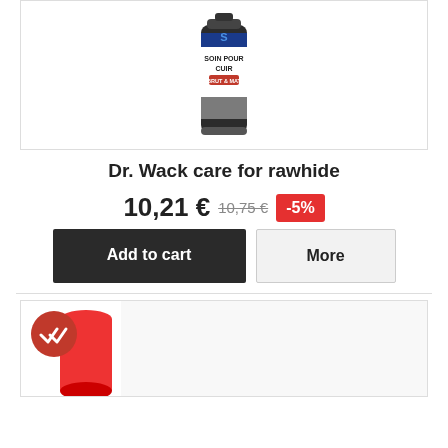[Figure (photo): Spray can product - Dr. Wack care for rawhide, dark can with blue and red label reading SOIN POUR CUIR BRUT & MAT]
Dr. Wack care for rawhide
10,21 € 10,75 € -5%
Add to cart | More
[Figure (photo): Second product image - red cylindrical object, partially visible, with a red circular checkmark badge in the lower left corner]